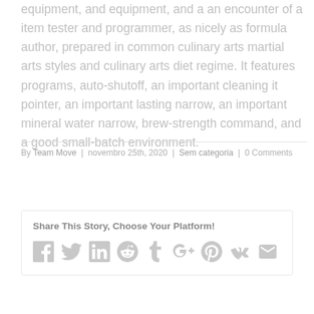equipment, and equipment, and a an encounter of a item tester and programmer, as nicely as formula author, prepared in common culinary arts martial arts styles and culinary arts diet regime. It features programs, auto-shutoff, an important cleaning it pointer, an important lasting narrow, an important mineral water narrow, brew-strength command, and a good small-batch environment.
By Team Move | novembro 25th, 2020 | Sem categoria | 0 Comments
Share This Story, Choose Your Platform!
[Figure (infographic): Row of social media sharing icons: Facebook, Twitter, LinkedIn, Reddit, Tumblr, Google+, Pinterest, Vk, Email]